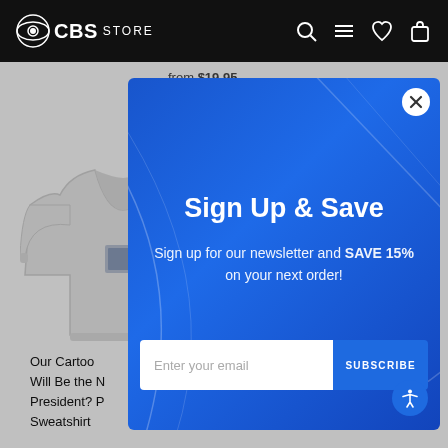CBS STORE
from $19.95
[Figure (photo): Gray sweatshirt with small graphic on chest]
Our Cartoon Will Be the Next President? P... Sweatshirt
Sign Up & Save
Sign up for our newsletter and SAVE 15% on your next order!